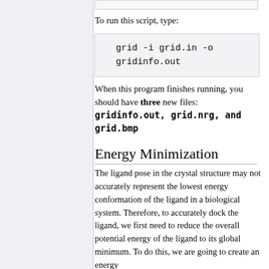To run this script, type:
When this program finishes running, you should have three new files: gridinfo.out, grid.nrg, and grid.bmp
Energy Minimization
The ligand pose in the crystal structure may not accurately represent the lowest energy conformation of the ligand in a biological system. Therefore, to accurately dock the ligand, we first need to reduce the overall potential energy of the ligand to its global minimum. To do this, we are going to create an energy